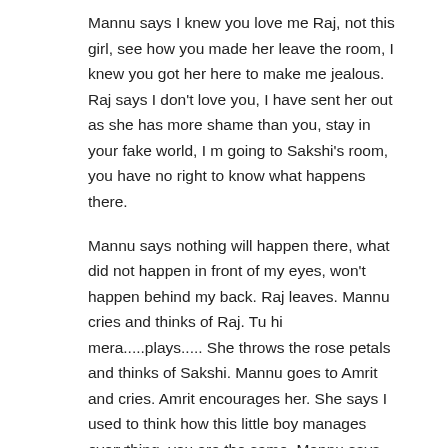Mannu says I knew you love me Raj, not this girl, see how you made her leave the room, I knew you got her here to make me jealous. Raj says I don't love you, I have sent her out as she has more shame than you, stay in your fake world, I m going to Sakshi's room, you have no right to know what happens there.
Mannu says nothing will happen there, what did not happen in front of my eyes, won't happen behind my back. Raj leaves. Mannu cries and thinks of Raj. Tu hi mera.....plays..... She throws the rose petals and thinks of Sakshi. Mannu goes to Amrit and cries. Amrit encourages her. She says I used to think how this little boy manages everything, you are the same. Mannu says no, it was Mannu who was taught that man does not have any pain.